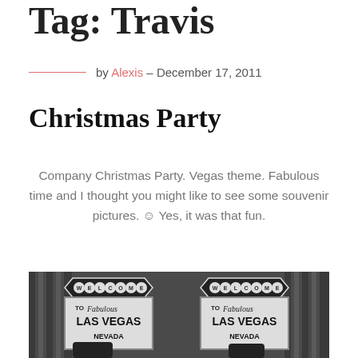Tag: Travis
by Alexis – December 17, 2011
Christmas Party
Company Christmas Party. Vegas theme. Fabulous time and I thought you might like to see some souvenir pictures. 🙂 Yes, it was that fun.
[Figure (photo): Black and white photo showing two 'Welcome to Fabulous Las Vegas Nevada' signs side by side, with curtain backdrop and partial figures visible at bottom]